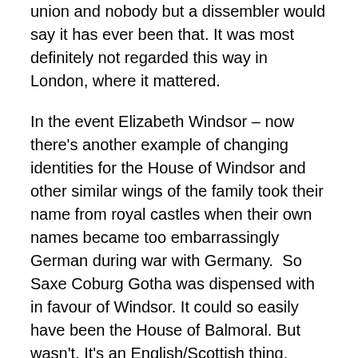union and nobody but a dissembler would say it has ever been that. It was most definitely not regarded this way in London, where it mattered.
In the event Elizabeth Windsor – now there's another example of changing identities for the House of Windsor and other similar wings of the family took their name from royal castles when their own names became too embarrassingly German during war with Germany.  So Saxe Coburg Gotha was dispensed with in favour of Windsor. It could so easily have been the House of Balmoral. But wasn't. It's an English/Scottish thing. Again.
As I was saying, in the event Princess Elizabeth and parliament decided she should present herself as a successor to Elizabeth Tudor of England – which she isn't. Okay, let's stop there for a minute. Elizabeth of England had no children. The English line of Tudors therefore died